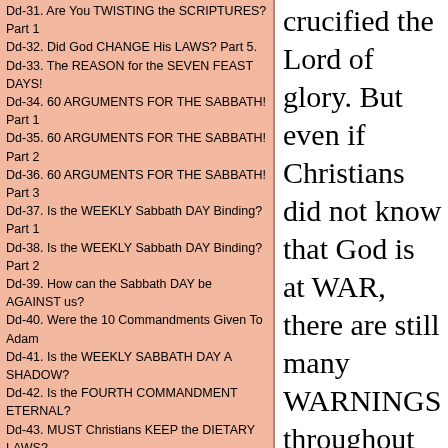Dd-31. Are You TWISTING the SCRIPTURES? Part 1
Dd-32. Did God CHANGE His LAWS? Part 5.
Dd-33. The REASON for the SEVEN FEAST DAYS!
Dd-34. 60 ARGUMENTS FOR THE SABBATH! Part 1
Dd-35. 60 ARGUMENTS FOR THE SABBATH! Part 2
Dd-36. 60 ARGUMENTS FOR THE SABBATH! Part 3
Dd-37. Is the WEEKLY Sabbath DAY Binding? Part 1
Dd-38. Is the WEEKLY Sabbath DAY Binding? Part 2
Dd-39. How can the Sabbath DAY be AGAINST us?
Dd-40. Were the 10 Commandments Given To Adam
Dd-41. Is the WEEKLY SABBATH DAY A SHADOW?
Dd-42. Is the FOURTH COMMANDMENT ETERNAL?
Dd-43. MUST Christians KEEP the DIETARY LAWS?
Dd-44. ACTS 10 Peter's Vision of CLEANSED Meat?
Dd-45. WHAT does HEBREW 4:1-11 TRULY MEAN?
Dd-46. Scriptures used to teach the Sabbath!-1
Dd-47. Scriptures used to Teach the Sabbath! Pt. 2
Dd-48. Scriptures used to Teach the Sabbath! Pt. 3
Dd-49. Has God's LAW BEEN ABOLISHED? PART 1
Dd-50. Has God's LAW BEEN ABOLISHED? PART 2
Dd-51. Has God's LAW BEEN ABOLISHED? PART 3
Dd-52. Has God's LAW BEEN ABOLISHED? PART 4
Dd-53. Jesus is the END of the Law of Moses!
Dd-54. WHAT DOES ISAIAH 58:13 TRULY MEAN?
crucified the Lord of glory. But even if Christians did not know that God is at WAR, there are still many WARNINGS throughout the New